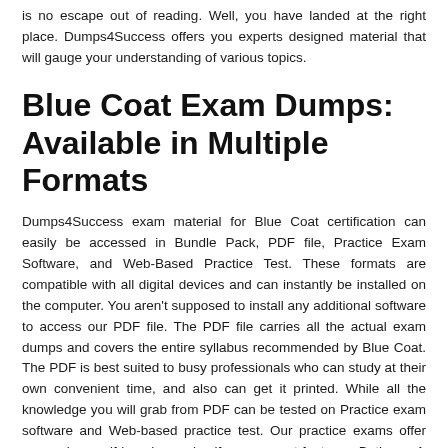is no escape out of reading. Well, you have landed at the right place. Dumps4Success offers you experts designed material that will gauge your understanding of various topics.
Blue Coat Exam Dumps: Available in Multiple Formats
Dumps4Success exam material for Blue Coat certification can easily be accessed in Bundle Pack, PDF file, Practice Exam Software, and Web-Based Practice Test. These formats are compatible with all digital devices and can instantly be installed on the computer. You aren't supposed to install any additional software to access our PDF file. The PDF file carries all the actual exam dumps and covers the entire syllabus recommended by Blue Coat. The PDF is best suited to busy professionals who can study at their own convenient time, and also can get it printed. While all the knowledge you will grab from PDF can be tested on Practice exam software and Web-based practice test. Our practice exams offer you various self-learning and self-assessment features. Both mock exams are good for those professionals who don't have time but still need to complete their real life examination which will off